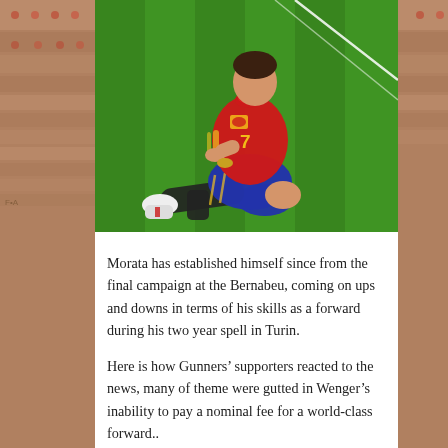[Figure (photo): A soccer player wearing Spain's red number 7 jersey and blue shorts, kneeling/sliding on a green grass pitch in a stadium, appearing to celebrate or react to a goal.]
Morata has established himself since from the final campaign at the Bernabeu, coming on ups and downs in terms of his skills as a forward during his two year spell in Turin.
Here is how Gunners' supporters reacted to the news, many of theme were gutted in Wenger's inability to pay a nominal fee for a world-class forward..